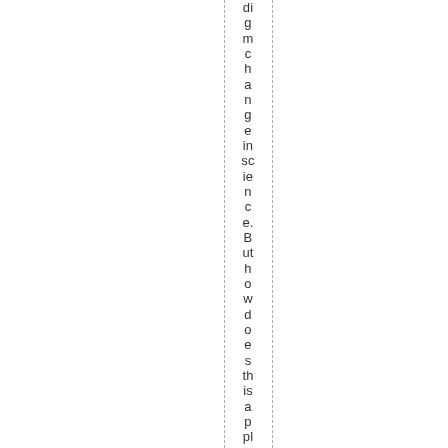digmchangeinscience. But how does this apply